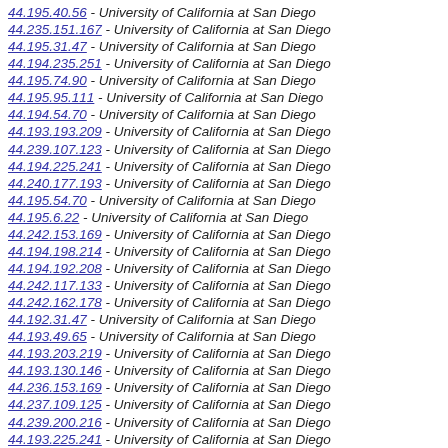44.195.40.56 - University of California at San Diego
44.235.151.167 - University of California at San Diego
44.195.31.47 - University of California at San Diego
44.194.235.251 - University of California at San Diego
44.195.74.90 - University of California at San Diego
44.195.95.111 - University of California at San Diego
44.194.54.70 - University of California at San Diego
44.193.193.209 - University of California at San Diego
44.239.107.123 - University of California at San Diego
44.194.225.241 - University of California at San Diego
44.240.177.193 - University of California at San Diego
44.195.54.70 - University of California at San Diego
44.195.6.22 - University of California at San Diego
44.242.153.169 - University of California at San Diego
44.194.198.214 - University of California at San Diego
44.194.192.208 - University of California at San Diego
44.242.117.133 - University of California at San Diego
44.242.162.178 - University of California at San Diego
44.192.31.47 - University of California at San Diego
44.193.49.65 - University of California at San Diego
44.193.203.219 - University of California at San Diego
44.193.130.146 - University of California at San Diego
44.236.153.169 - University of California at San Diego
44.237.109.125 - University of California at San Diego
44.239.200.216 - University of California at San Diego
44.193.225.241 - University of California at San Diego
44.239.18.34 - University of California at San Diego
44.194.63.79 - University of California at San Diego
44.229.140.156 - University of California at San Diego
44.193.28.44 - University of California at San Diego